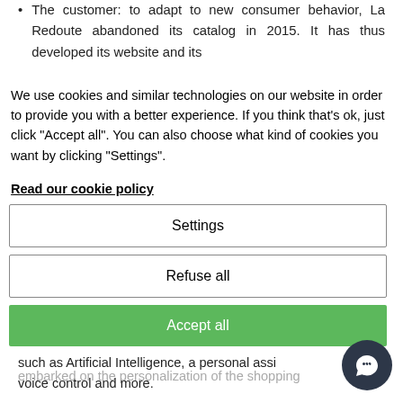The customer: to adapt to new consumer behavior, La Redoute abandoned its catalog in 2015. It has thus developed its website and its mobile site to attract a younger and more connected clientele. It has also opened physical stores, along with real connected showrooms where salespeople are equipped with tablets.
We use cookies and similar technologies on our website in order to provide you with a better experience. If you think that's ok, just click "Accept all". You can also choose what kind of cookies you want by clicking "Settings".
Read our cookie policy
Settings
Refuse all
Accept all
on the development of tools to anticipate new such as Artificial Intelligence, a personal assi voice control and more.